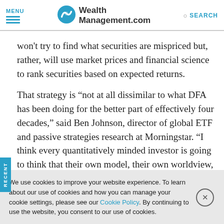MENU | WealthManagement.com | SEARCH
won't try to find what securities are mispriced but, rather, will use market prices and financial science to rank securities based on expected returns.
That strategy is “not at all dissimilar to what DFA has been doing for the better part of effectively four decades,” said Ben Johnson, director of global ETF and passive strategies research at Morningstar. “I think every quantitatively minded investor is going to think that their own model, their own worldview, represents the snowflake that they are, but all have similar
We use cookies to improve your website experience. To learn about our use of cookies and how you can manage your cookie settings, please see our Cookie Policy. By continuing to use the website, you consent to our use of cookies.